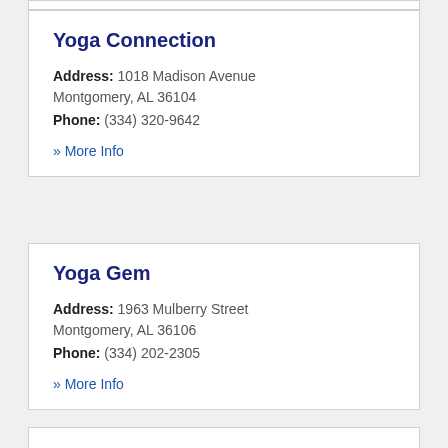Yoga Connection
Address: 1018 Madison Avenue Montgomery, AL 36104
Phone: (334) 320-9642
» More Info
Yoga Gem
Address: 1963 Mulberry Street Montgomery, AL 36106
Phone: (334) 202-2305
» More Info